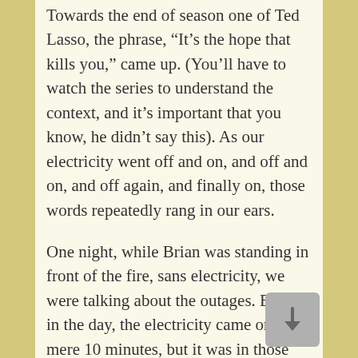Towards the end of season one of Ted Lasso, the phrase, “It’s the hope that kills you,” came up. (You’ll have to watch the series to understand the context, and it’s important that you know, he didn’t say this). As our electricity went off and on, and off and on, and off again, and finally on, those words repeatedly rang in our ears.
One night, while Brian was standing in front of the fire, sans electricity, we were talking about the outages. Earlier in the day, the electricity came on for a mere 10 minutes, but it was in those minutes that we raced around trying to do some things we needed power for. We embraced every second, not knowing when it would end.